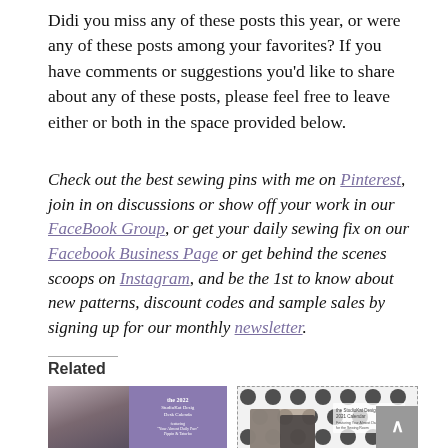Didi you miss any of these posts this year, or were any of these posts among your favorites? If you have comments or suggestions you'd like to share about any of these posts, please feel free to leave either or both in the space provided below.
Check out the best sewing pins with me on Pinterest, join in on discussions or show off your work in our FaceBook Group, or get your daily sewing fix on our Facebook Business Page or get behind the scenes scoops on Instagram, and be the 1st to know about new patterns, discount codes and sample sales by signing up for our monthly newsletter.
Related
[Figure (photo): Two cats on a desk calendar titled 'the 2022 StudioKat Designs Desk Calendar featuring Your Almost Daily Purr Pippin & Tatorbo']
[Figure (photo): Cats on a polka dot patterned calendar titled 'the StudioKat Designs 2021 Calendar']